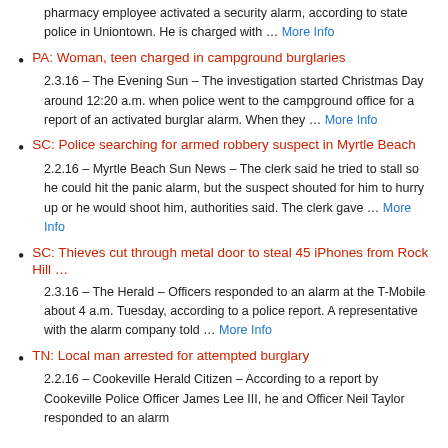pharmacy employee activated a security alarm, according to state police in Uniontown. He is charged with … More Info
PA: Woman, teen charged in campground burglaries
2.3.16 – The Evening Sun – The investigation started Christmas Day around 12:20 a.m. when police went to the campground office for a report of an activated burglar alarm. When they … More Info
SC: Police searching for armed robbery suspect in Myrtle Beach
2.2.16 – Myrtle Beach Sun News – The clerk said he tried to stall so he could hit the panic alarm, but the suspect shouted for him to hurry up or he would shoot him, authorities said. The clerk gave … More Info
SC: Thieves cut through metal door to steal 45 iPhones from Rock Hill …
2.3.16 – The Herald – Officers responded to an alarm at the T-Mobile about 4 a.m. Tuesday, according to a police report. A representative with the alarm company told … More Info
TN: Local man arrested for attempted burglary
2.2.16 – Cookeville Herald Citizen – According to a report by Cookeville Police Officer James Lee III, he and Officer Neil Taylor responded to an alarm